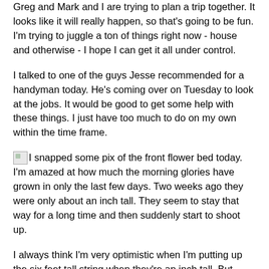Greg and Mark and I are trying to plan a trip together. It looks like it will really happen, so that's going to be fun. I'm trying to juggle a ton of things right now - house and otherwise - I hope I can get it all under control.
I talked to one of the guys Jesse recommended for a handyman today. He's coming over on Tuesday to look at the jobs. It would be good to get some help with these things. I just have too much to do on my own within the time frame.
[image] I snapped some pix of the front flower bed today. I'm amazed at how much the morning glories have grown in only the last few days. Two weeks ago they were only about an inch tall. They seem to stay that way for a long time and then suddenly start to shoot up.
I always think I'm very optimistic when I'm putting up the six feet tall string when they're an inch tall. But, they're [image] starting to grow rapidly now. One year at my old place, I started the seeds early indoors and by July 4th they were all over the front and blooming. Those are all volunteer - just...